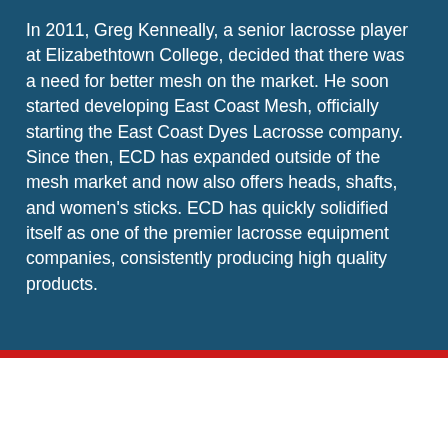In 2011, Greg Kenneally, a senior lacrosse player at Elizabethtown College, decided that there was a need for better mesh on the market. He soon started developing East Coast Mesh, officially starting the East Coast Dyes Lacrosse company. Since then, ECD has expanded outside of the mesh market and now also offers heads, shafts, and women's sticks. ECD has quickly solidified itself as one of the premier lacrosse equipment companies, consistently producing high quality products.